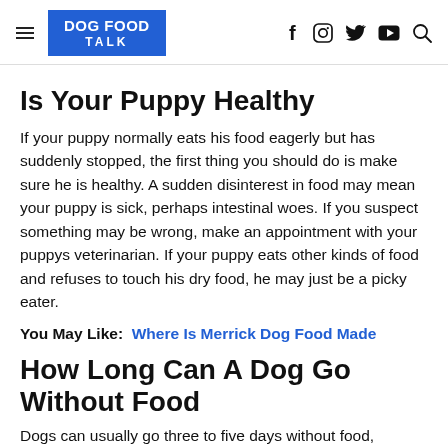DOG FOOD TALK
Is Your Puppy Healthy
If your puppy normally eats his food eagerly but has suddenly stopped, the first thing you should do is make sure he is healthy. A sudden disinterest in food may mean your puppy is sick, perhaps intestinal woes. If you suspect something may be wrong, make an appointment with your puppys veterinarian. If your puppy eats other kinds of food and refuses to touch his dry food, he may just be a picky eater.
You May Like:  Where Is Merrick Dog Food Made
How Long Can A Dog Go Without Food
Dogs can usually go three to five days without food, however